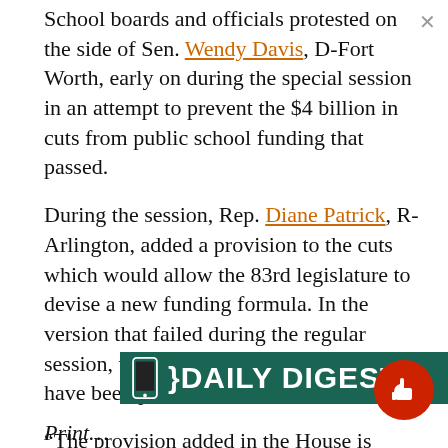School boards and officials protested on the side of Sen. Wendy Davis, D-Fort Worth, early on during the special session in an attempt to prevent the $4 billion in cuts from public school funding that passed.
During the session, Rep. Diane Patrick, R-Arlington, added a provision to the cuts which would allow the 83rd legislature to devise a new funding formula. In the version that failed during the regular session, the cuts to public schools would have been permanent.
“The provision added in the House is going to sunset the new funding formula for schools, and we will then hopefully reestablish the current funding for our schools,” Davis said.
Print...
[Figure (screenshot): Daily Digest promotional banner bar in dark green with phone icon and bold white text reading DAILY DIGEST, with a red circle thumbs-up icon on the right and an X close button at top right.]